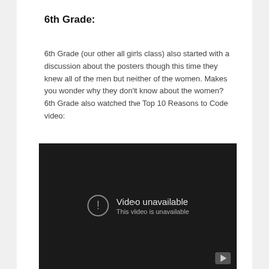6th Grade:
6th Grade (our other all girls class) also started with a discussion about the posters though this time they knew all of the men but neither of the women. Makes you wonder why they don't know about the women? 6th Grade also watched the Top 10 Reasons to Code video:
[Figure (screenshot): Embedded video player showing 'Video unavailable - This video is unavailable' message on dark background with a play button in the bottom right corner.]